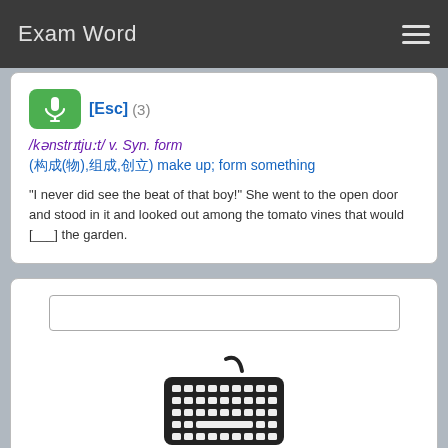Exam Word
[Esc] (3)
/kənstrɪtjuːt/ v. Syn. form
(构成(物),组成,创立) make up; form something
"I never did see the beat of that boy!" She went to the open door and stood in it and looked out among the tomato vines that would [___] the garden.
[Figure (screenshot): Text input box for typing answer]
[Figure (illustration): Keyboard icon illustration in dark gray]